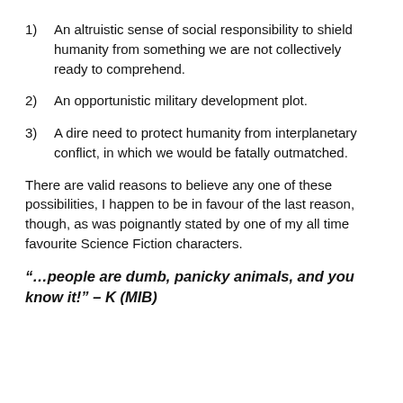1)   An altruistic sense of social responsibility to shield humanity from something we are not collectively ready to comprehend.
2)   An opportunistic military development plot.
3)   A dire need to protect humanity from interplanetary conflict, in which we would be fatally outmatched.
There are valid reasons to believe any one of these possibilities, I happen to be in favour of the last reason, though, as was poignantly stated by one of my all time favourite Science Fiction characters.
“…people are dumb, panicky animals, and you know it!” – K (MIB)